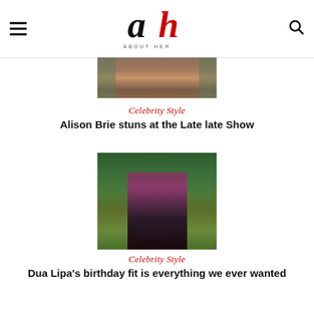[Figure (logo): About Her magazine logo with stylized 'ah' letters and tagline ABOUT HER]
[Figure (photo): Cropped photo showing legs in brown boots, partial view of outfit - Alison Brie at Late Late Show]
Celebrity Style
Alison Brie stuns at the Late late Show
[Figure (photo): Dua Lipa wearing a black and purple halter dress, posing in front of tropical green foliage]
Celebrity Style
Dua Lipa's birthday fit is everything we ever wanted